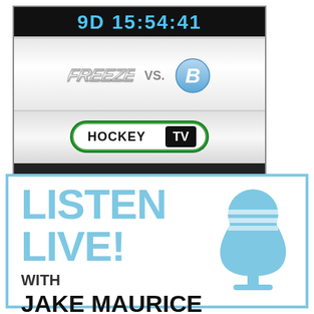[Figure (screenshot): HockeyTV countdown widget showing '9D 15:54:41' timer, Freeze vs B team logos, HockeyTV logo, and 'Click to Watch: www.hockeytv.com' banner]
[Figure (infographic): Listen Live with Jake Maurice promotional graphic with microphone icon, light blue border, and bold text]